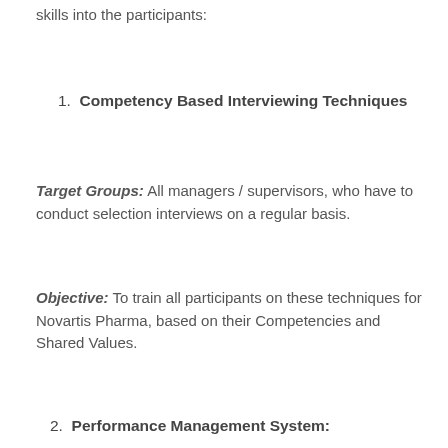skills into the participants:
1. Competency Based Interviewing Techniques
Target Groups: All managers / supervisors, who have to conduct selection interviews on a regular basis.
Objective: To train all participants on these techniques for Novartis Pharma, based on their Competencies and Shared Values.
2. Performance Management System: